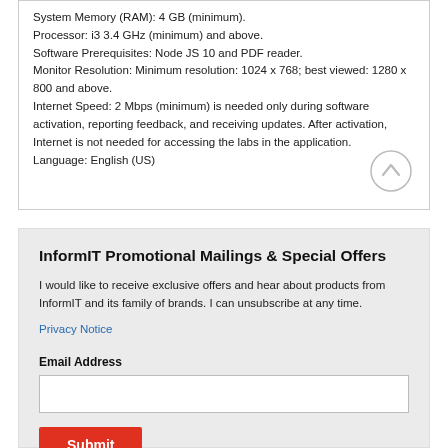System Memory (RAM): 4 GB (minimum). Processor: i3 3.4 GHz (minimum) and above. Software Prerequisites: Node JS 10 and PDF reader. Monitor Resolution: Minimum resolution: 1024 x 768; best viewed: 1280 x 800 and above. Internet Speed: 2 Mbps (minimum) is needed only during software activation, reporting feedback, and receiving updates. After activation, Internet is not needed for accessing the labs in the application. Language: English (US)
InformIT Promotional Mailings & Special Offers
I would like to receive exclusive offers and hear about products from InformIT and its family of brands. I can unsubscribe at any time.
Privacy Notice
Email Address